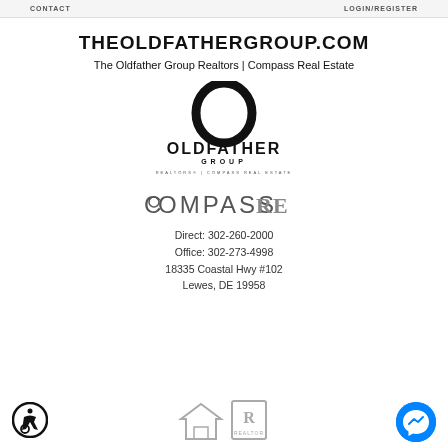CONTACT   LOGIN/REGISTER
THEOLDFATHERGROUP.COM
The Oldfather Group Realtors | Compass Real Estate
[Figure (logo): Oldfather Group Realtors | Compass Real Estate logo — large O with OLDFATHER GROUP text and REALTORS | COMPASS REAL ESTATE tagline]
[Figure (logo): COMPASS RE logo in grey text]
Direct: 302-260-2000
Office: 302-273-4998
18335 Coastal Hwy #102
Lewes, DE 19958
[Figure (logo): Accessibility icon — person in wheelchair circle]
[Figure (logo): Equal Housing Opportunity and Realtor logos]
[Figure (logo): Facebook Messenger button blue circle]